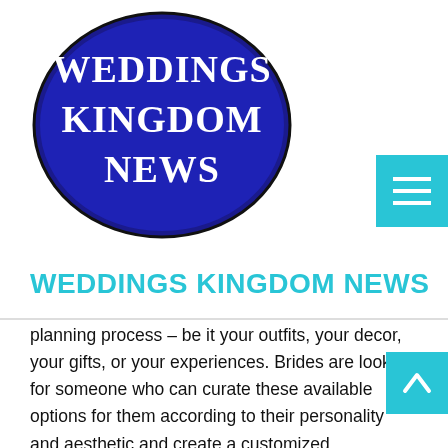[Figure (logo): Weddings Kingdom News oval logo: dark blue/navy oval with white serif text reading WEDDINGS KINGDOM NEWS]
WEDDINGS KINGDOM NEWS
planning process – be it your outfits, your decor, your gifts, or your experiences. Brides are looking for someone who can curate these available options for them according to their personality and aesthetic and create a customized experience for them. 50-100 is a golden number for any intimate affair. Working from home for most brides was a blessing which made the planning process more interesting. They are still living